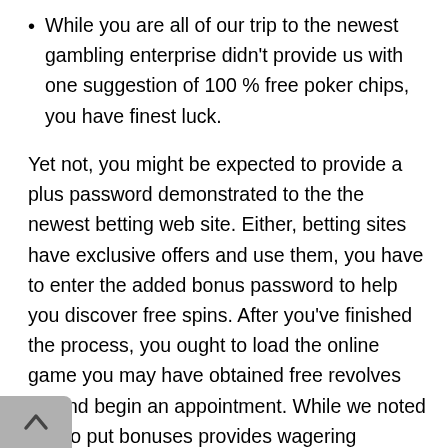While you are all of our trip to the newest gambling enterprise didn't provide us with one suggestion of 100 % free poker chips, you have finest luck.
Yet not, you might be expected to provide a plus password demonstrated to the the newest betting web site. Either, betting sites have exclusive offers and use them, you have to enter the added bonus password to help you discover free spins. After you've finished the process, you ought to load the online game you may have obtained free revolves for and begin an appointment. While we noted you to put bonuses provides wagering conditions in most circumstances, this is simply not constantly real. Particular casinos like to promote new customers to really make the first deposit however, allow them to winnings and you may withdraw its winnings rather than more standards, we.e., rather than wagers. Put differently, try to make very first